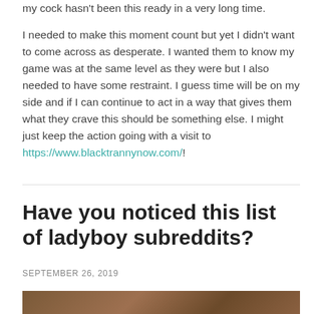my cock hasn't been this ready in a very long time.

I needed to make this moment count but yet I didn't want to come across as desperate. I wanted them to know my game was at the same level as they were but I also needed to have some restraint. I guess time will be on my side and if I can continue to act in a way that gives them what they crave this should be something else. I might just keep the action going with a visit to https://www.blacktrannynow.com/!
Have you noticed this list of ladyboy subreddits?
SEPTEMBER 26, 2019
[Figure (photo): Partial view of a wooden surface or furniture, cropped at bottom of page]